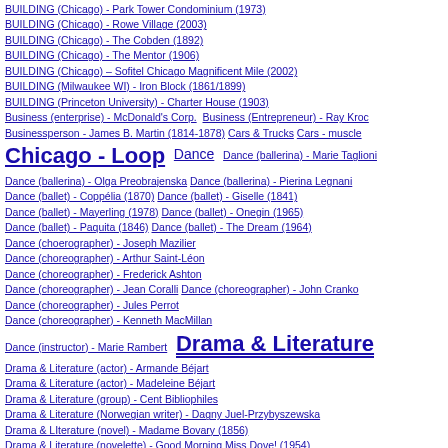BUILDING (Chicago) - Park Tower Condominium (1973)
BUILDING (Chicago) - Rowe Village (2003)
BUILDING (Chicago) - The Cobden (1892)
BUILDING (Chicago) - The Mentor (1906)
BUILDING (Chicago) – Sofitel Chicago Magnificent Mile (2002)
BUILDING (Milwaukee WI) - Iron Block (1861/1899)
BUILDING (Princeton University) - Charter House (1903)
Business (enterprise) - McDonald's Corp.  Business (Entrepreneur) - Ray Kroc
Businessperson - James B. Martin (1814-1878)  Cars & Trucks  Cars - muscle
Chicago - Loop  Dance  Dance (ballerina) - Marie Taglioni
Dance (ballerina) - Olga Preobrajenska  Dance (ballerina) - Pierina Legnani
Dance (ballet) - Coppélia (1870)  Dance (ballet) - Giselle (1841)
Dance (ballet) - Mayerling (1978)  Dance (ballet) - Onegin (1965)
Dance (ballet) - Paquita (1846)  Dance (ballet) - The Dream (1964)
Dance (choerographer) - Joseph Mazilier
Dance (choreographer) - Arthur Saint-Léon
Dance (choreographer) - Frederick Ashton
Dance (choreographer) - Jean Coralli  Dance (choreographer) - John Cranko
Dance (choreographer) - Jules Perrot
Dance (choreographer) - Kenneth MacMillan
Dance (instructor) - Marie Rambert  Drama & Literature
Drama & Literature (actor) - Armande Béjart
Drama & Literature (actor) - Madeleine Béjart
Drama & Literature (group) - Cent Bibliophiles
Drama & Literature (Norwegian writer) - Dagny Juel-Przybyszewska
Drama & LIterature (novel) - Madame Bovary (1856)
Drama & Literature (novelette) - Good Morning Miss Dove! (1954)
Drama & Literature (novelist) - Anne and Serge Golan
Drama & Literature (novelist) - Frances Gray Patton
Drama & Literature (novelist) - Gustave Flaubert
Drama & Literature (novelist) – E.M. Forster